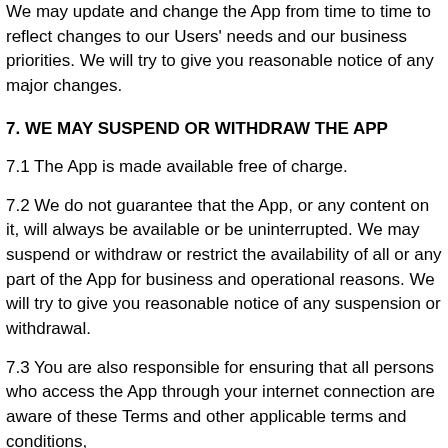We may update and change the App from time to time to reflect changes to our Users' needs and our business priorities. We will try to give you reasonable notice of any major changes.
7. WE MAY SUSPEND OR WITHDRAW THE APP
7.1 The App is made available free of charge.
7.2 We do not guarantee that the App, or any content on it, will always be available or be uninterrupted. We may suspend or withdraw or restrict the availability of all or any part of the App for business and operational reasons. We will try to give you reasonable notice of any suspension or withdrawal.
7.3 You are also responsible for ensuring that all persons who access the App through your internet connection are aware of these Terms and other applicable terms and conditions,